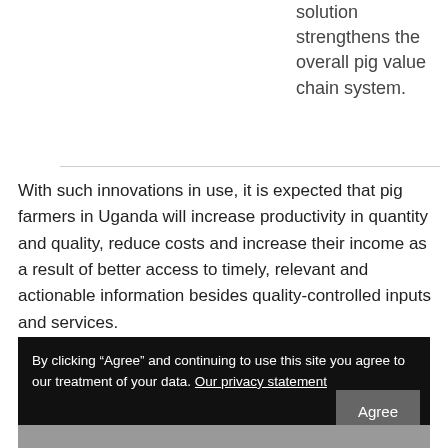solution strengthens the overall pig value chain system.
With such innovations in use, it is expected that pig farmers in Uganda will increase productivity in quantity and quality, reduce costs and increase their income as a result of better access to timely, relevant and actionable information besides quality-controlled inputs and services.
By clicking “Agree” and continuing to use this site you agree to our treatment of your data. Our privacy statement
[Figure (photo): Bottom portion of a photo partially visible at the bottom of the page]